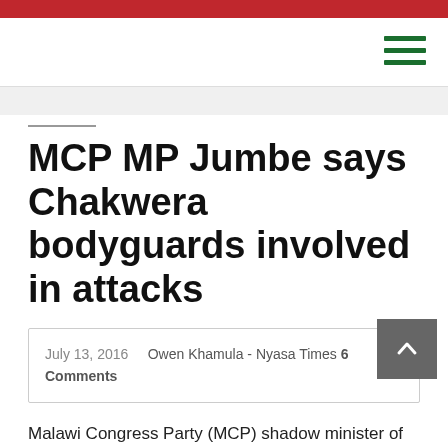MCP MP Jumbe says Chakwera bodyguards involved in attacks
July 13, 2016   Owen Khamula - Nyasa Times 6 Comments
Malawi Congress Party (MCP) shadow minister of Agriculture Felix Jumbe has said security detail for party president Lazarus Chakwera might have been involved in